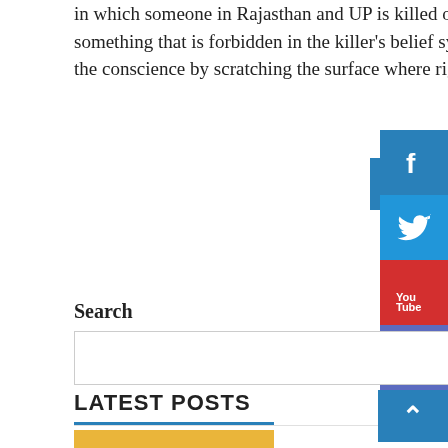in which someone in Rajasthan and UP is killed on the suspicion of carrying something that is forbidden in the killer's belief system. Kawela tries to stir the conscience by scratching the surface where rig...
Read More
[Figure (other): Social media sidebar with Facebook, Twitter, YouTube, and Instagram icon buttons]
Search
Search
LATEST POSTS
[Figure (other): Thumbnail image strip at bottom, partially visible, golden/yellow color]